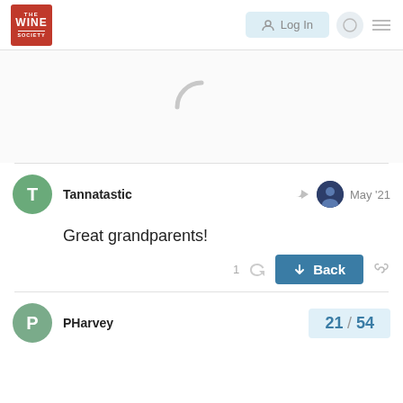[Figure (logo): The Wine Society logo — red square with white text]
[Figure (screenshot): Log In button and navigation icons in header]
[Figure (illustration): Loading spinner (partial C arc in gray)]
Tannatastic
May '21
Great grandparents!
1
Back
PHarvey
21 / 54